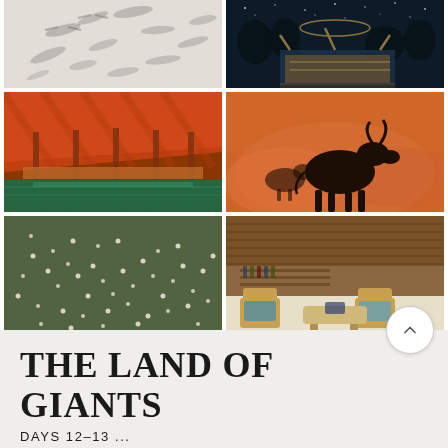[Figure (photo): Aerial view of birds casting shadows on white sand or snow surface]
[Figure (photo): Night scene with illuminated pergola/pavilion structure and trees under starry sky]
[Figure (photo): Interior of large orange tent with long dining table beside a pool]
[Figure (photo): Wildebeest silhouetted in orange dusty haze]
[Figure (photo): Aerial view of flamingos or birds scattered on dark grey-green surface]
[Figure (photo): Safari lounge area with wicker chairs under thatched roof]
THE LAND OF GIANTS
DAYS 12-13 ...